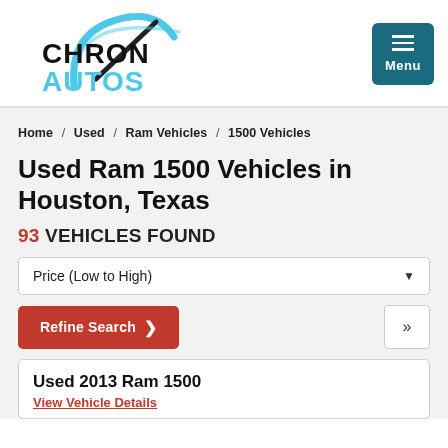[Figure (logo): Chron Autos logo with speedometer arc graphic in light blue and black text]
Home / Used / Ram Vehicles / 1500 Vehicles
Used Ram 1500 Vehicles in Houston, Texas
93 VEHICLES FOUND
Price (Low to High)
Refine Search >
»
Used 2013 Ram 1500
View Vehicle Details